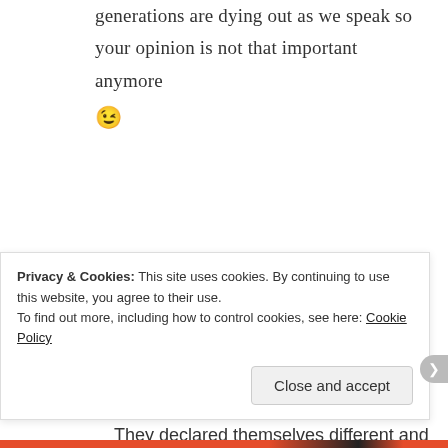generations are dying out as we speak so your opinion is not that important anymore 😉
genx1980 · June 1, 2015 at 3:55 pm · Reply
Millenials were born in 1982 I believe. They declared themselves different and special when they
Privacy & Cookies: This site uses cookies. By continuing to use this website, you agree to their use. To find out more, including how to control cookies, see here: Cookie Policy
Close and accept